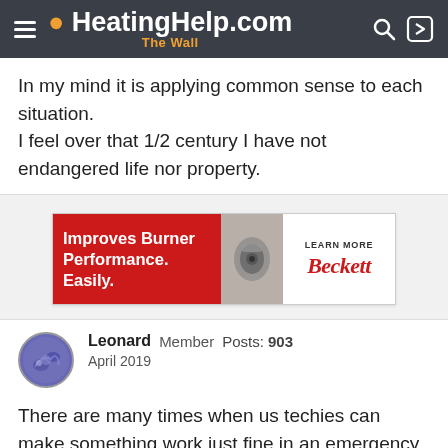HeatingHelp.com The Wall
In my mind it is applying common sense to each situation.
I feel over that 1/2 century I have not endangered life nor property.
[Figure (infographic): Beckett advertisement banner: 'Improves Burner Performance. Easily.' with image of burner equipment and Beckett logo with 'LEARN MORE' text]
Leonard  Member  Posts: 903
April 2019
There are many times when us techies can make something work just fine in an emergency.